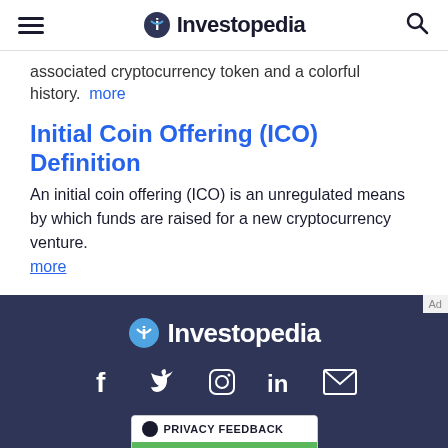Investopedia
associated cryptocurrency token and a colorful history. more
Initial Coin Offering (ICO) Definition
An initial coin offering (ICO) is an unregulated means by which funds are raised for a new cryptocurrency venture. more
[Figure (logo): Investopedia logo in white on dark navy footer background with social media icons (Facebook, Twitter, Instagram, LinkedIn, Email) and Privacy Feedback badge powered by TRUSTe]
We help people find answers, solve problems and get inspired. Dotdash meredith